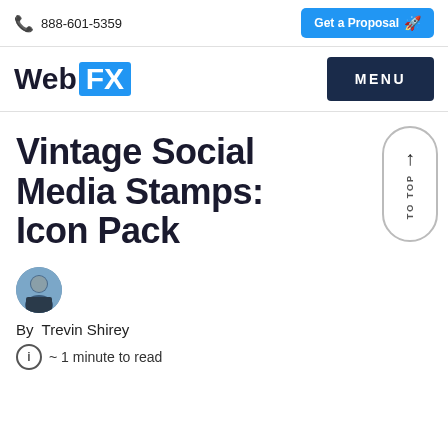888-601-5359   Get a Proposal
[Figure (logo): WebFX logo with blue FX badge, and MENU button on the right]
Vintage Social Media Stamps: Icon Pack
By Trevin Shirey
~ 1 minute to read